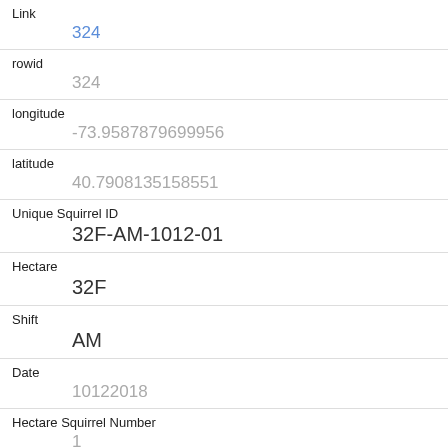| Field | Value |
| --- | --- |
| Link | 324 |
| rowid | 324 |
| longitude | -73.9587879699956 |
| latitude | 40.7908135158551 |
| Unique Squirrel ID | 32F-AM-1012-01 |
| Hectare | 32F |
| Shift | AM |
| Date | 10122018 |
| Hectare Squirrel Number | 1 |
| Age |  |
| Primary Fur Color |  |